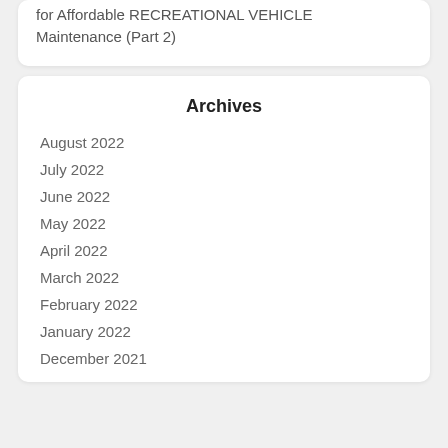for Affordable RECREATIONAL VEHICLE Maintenance (Part 2)
Archives
August 2022
July 2022
June 2022
May 2022
April 2022
March 2022
February 2022
January 2022
December 2021